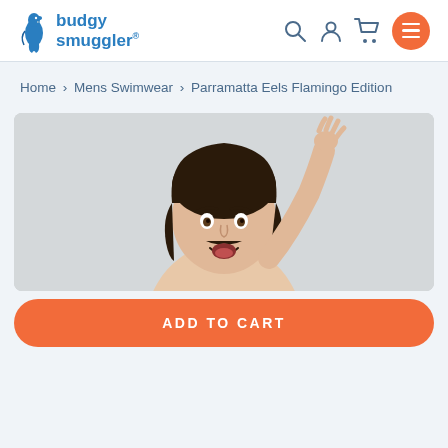budgy smuggler® — navigation header with search, account, cart, and menu icons
Home > Mens Swimwear > Parramatta Eels Flamingo Edition
[Figure (photo): A man with dark wavy hair and a moustache, mouth open in excitement, reaching one hand up above his head, posing against a light grey background. Product photo for Parramatta Eels Flamingo Edition swimwear.]
ADD TO CART